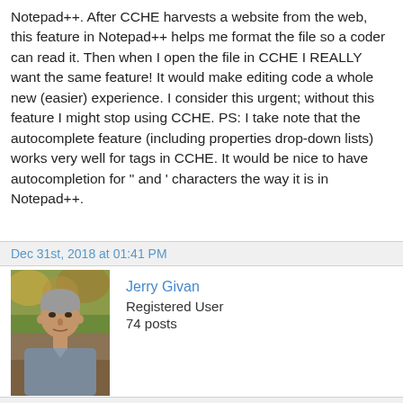Notepad++. After CCHE harvests a website from the web, this feature in Notepad++ helps me format the file so a coder can read it. Then when I open the file in CCHE I REALLY want the same feature! It would make editing code a whole new (easier) experience. I consider this urgent; without this feature I might stop using CCHE. PS: I take note that the autocomplete feature (including properties drop-down lists) works very well for tags in CCHE. It would be nice to have autocompletion for " and ' characters the way it is in Notepad++.
Dec 31st, 2018 at 01:41 PM
[Figure (photo): Profile photo of Jerry Givan, an older man with grey hair]
Jerry Givan
Registered User
74 posts